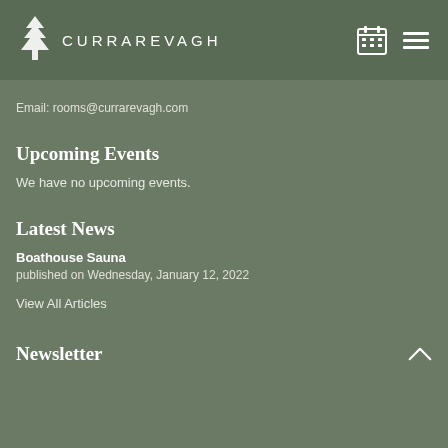[Figure (logo): Currarevagh logo with pine tree icon and text CURRAREVAGH]
Email: rooms@currarevagh.com
Upcoming Events
We have no upcoming events.
Latest News
Boathouse Sauna
published on Wednesday, January 12, 2022
View All Articles
Newsletter